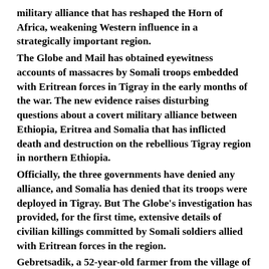military alliance that has reshaped the Horn of Africa, weakening Western influence in a strategically important region. The Globe and Mail has obtained eyewitness accounts of massacres by Somali troops embedded with Eritrean forces in Tigray in the early months of the war. The new evidence raises disturbing questions about a covert military alliance between Ethiopia, Eritrea and Somalia that has inflicted death and destruction on the rebellious Tigray region in northern Ethiopia. Officially, the three governments have denied any alliance, and Somalia has denied that its troops were deployed in Tigray. But The Globe's investigation has provided, for the first time, extensive details of civilian killings committed by Somali soldiers allied with Eritrean forces in the region. Gebretsadik, a 52-year-old farmer from the village of Zebangedena in northwestern Tigray, said the dusty roads of his village were strewn with the bodies of decapitated